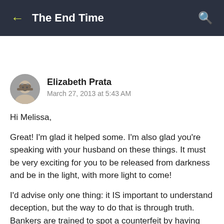← The End Time
Elizabeth Prata
March 27, 2013 at 5:43 AM
Hi Melissa,

Great! I'm glad it helped some. I'm also glad you're speaking with your husband on these things. It must be very exciting for you to be released from darkness and be in the light, with more light to come!

I'd advise only one thing: it IS important to understand deception, but the way to do that is through truth. Bankers are trained to spot a counterfeit by having intense